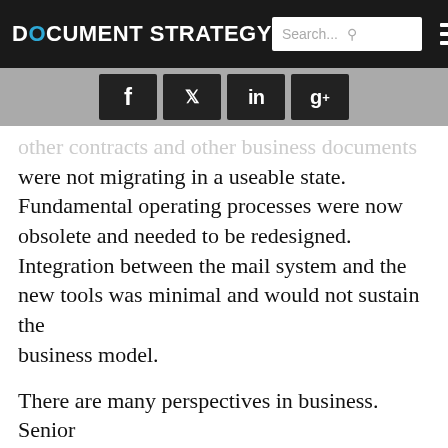DOCUMENT STRATEGY
[Figure (infographic): Social media share buttons: Facebook (f), Twitter (bird), LinkedIn (in), Google+ (g+)]
...other contracts and other business documents were not migrating in a useable state. Fundamental operating processes were now obsolete and needed to be redesigned. Integration between the mail system and the new tools was minimal and would not sustain the business model.
There are many perspectives in business. Senior management provides a strategic direction and vision by which the company will be guided. Middle management or business unit managers are given goals to achieve that support the